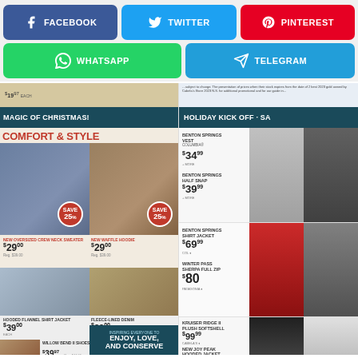[Figure (infographic): Social media share buttons: Facebook (blue), Twitter (cyan), Pinterest (red), WhatsApp (green), Telegram (blue)]
[Figure (infographic): Left catalog column showing Christmas sale items: Oversized Crew Neck Sweater $29.00, Waffle Hoodie $29.00, Hooded Flannel Shirt Jacket $39.00, Fleece-Lined Denim $39.00, Willow Bend II Shoes $39.97]
[Figure (infographic): Right catalog column showing Benton Springs Vest $34.99, Benton Springs Half Snap $39.99, Benton Springs Shirt Jacket $69.99, Winter Pass Sherpa Full Zip $80, Kruiser Ridge II Plush Softshell $99.99, New Joy Peak Hooded Jacket]